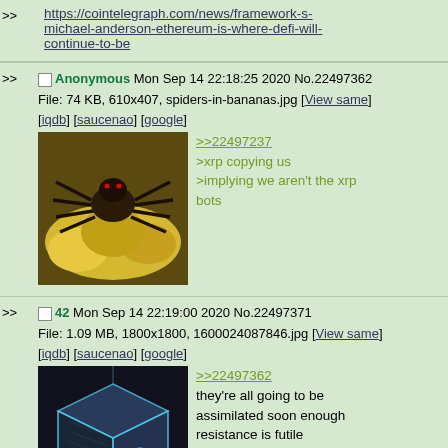https://cointelegraph.com/news/framework-s-michael-anderson-ethereum-is-where-defi-will-continue-to-be
Anonymous Mon Sep 14 22:18:25 2020 No.22497362
File: 74 KB, 610x407, spiders-in-bananas.jpg [View same] [iqdb] [saucenao] [google]
[Figure (photo): Photo of a tarantula spider sitting on yellow bananas]
>>22497237
>xrp copying us
>implying we aren't the xrp bots
42 Mon Sep 14 22:19:00 2020 No.22497371
File: 1.09 MB, 1800x1800, 1600024087846.jpg [View same] [iqdb] [saucenao] [google]
[Figure (photo): 3D rendered dark cube with blue lock symbol and glowing edges]
>>22497362
they're all going to be assimilated soon enough resistance is futile
Anonymous Mon Sep 14 22:21:13 2020 No.22497401